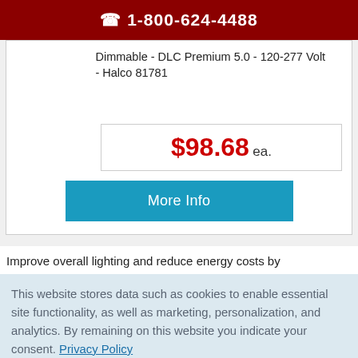📞 1-800-624-4488
Dimmable - DLC Premium 5.0 - 120-277 Volt - Halco 81781
$98.68 ea.
More Info
Improve overall lighting and reduce energy costs by
This website stores data such as cookies to enable essential site functionality, as well as marketing, personalization, and analytics. By remaining on this website you indicate your consent. Privacy Policy